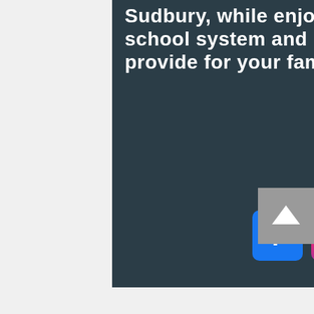Sudbury, while enjoying all the highly rated school system and recreation department provide for your family.
[Figure (logo): Facebook icon - blue square with white F]
[Figure (logo): Instagram icon - gradient square with camera outline]
[Figure (logo): YouTube icon - red square with white play button]
[Figure (other): Back to top button - grey square with upward arrow]